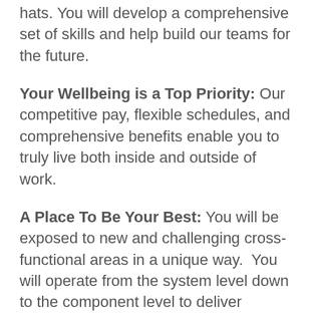hats. You will develop a comprehensive set of skills and help build our teams for the future.
Your Wellbeing is a Top Priority: Our competitive pay, flexible schedules, and comprehensive benefits enable you to truly live both inside and outside of work.
A Place To Be Your Best: You will be exposed to new and challenging cross-functional areas in a unique way.  You will operate from the system level down to the component level to deliver functional systems to the warfighter and advance commercial autonomous systems.
Advanced Technologies with Purpose:  Whether it be high energy lasers, autonomous systems or advanced visual perception solutions, you will directly impact the safety and security of our nation.  Not only are we aiding the American warfighter, but we are focused on transitioning our technologies to commercial products for a better